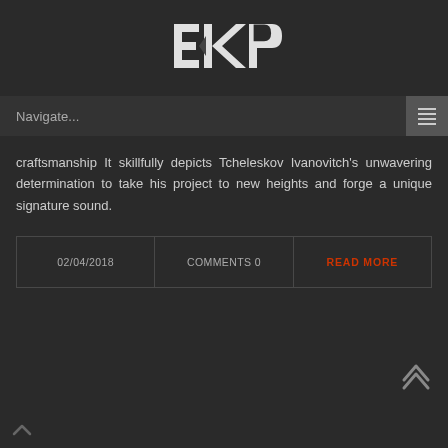ЭКP logo
Navigate...
craftsmanship It skillfully depicts Tcheleskov Ivanovitch's unwavering determination to take his project to new heights and forge a unique signature sound.
02/04/2018   COMMENTS 0   READ MORE